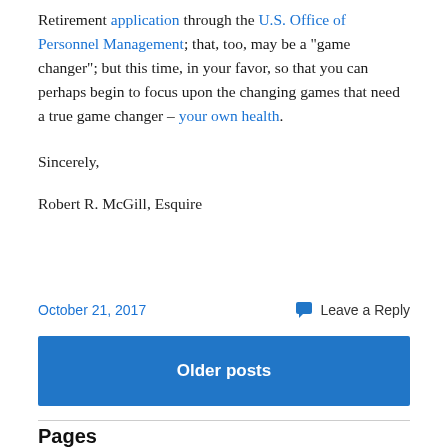Retirement application through the U.S. Office of Personnel Management; that, too, may be a "game changer"; but this time, in your favor, so that you can perhaps begin to focus upon the changing games that need a true game changer – your own health.
Sincerely,
Robert R. McGill, Esquire
October 21, 2017
Leave a Reply
Older posts
Pages